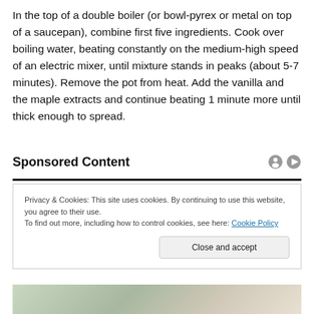In the top of a double boiler (or bowl-pyrex or metal on top of a saucepan), combine first five ingredients. Cook over boiling water, beating constantly on the medium-high speed of an electric mixer, until mixture stands in peaks (about 5-7 minutes). Remove the pot from heat. Add the vanilla and the maple extracts and continue beating 1 minute more until thick enough to spread.
Sponsored Content
Privacy & Cookies: This site uses cookies. By continuing to use this website, you agree to their use.
To find out more, including how to control cookies, see here: Cookie Policy
[Figure (photo): Partial photo visible at bottom of page, appears to show hands with paper/documents]